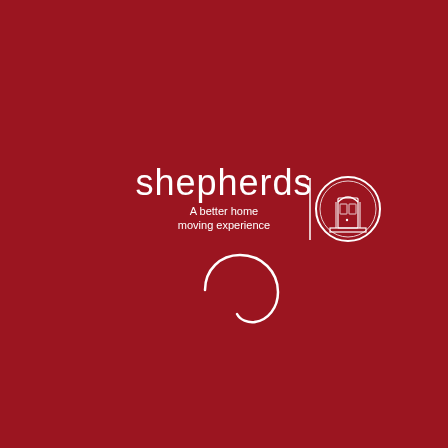[Figure (logo): Shepherds logo: white text 'shepherds' with tagline 'A better home moving experience', a vertical white divider line, and a circular badge containing a house/door illustration on a dark red background]